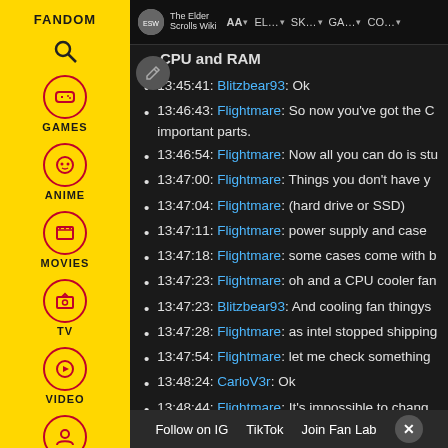Fandom sidebar with navigation: FANDOM, GAMES, ANIME, MOVIES, TV, VIDEO
The Elder Scrolls Wiki | AA | EL... | SK... | GA... | CO...
CPU and RAM
13:45:41: Blitzbear93: Ok
13:46:43: Flightmare: So now you've got the C... important parts.
13:46:54: Flightmare: Now all you can do is stu...
13:47:00: Flightmare: Things you don't have y...
13:47:04: Flightmare: (hard drive or SSD)
13:47:11: Flightmare: power supply and case
13:47:18: Flightmare: some cases come with b...
13:47:23: Flightmare: oh and a CPU cooler fan...
13:47:23: Blitzbear93: And cooling fan thingys...
13:47:28: Flightmare: as intel stopped shipping...
13:47:54: Flightmare: let me check something...
13:48:24: CarloV3r: Ok
13:48:44: Flightmare: It's impossible to chang...
13:...
13:49:03: Flightmare: It's much deeper in the s...
Follow on IG | TikTok | Join Fan Lab | X